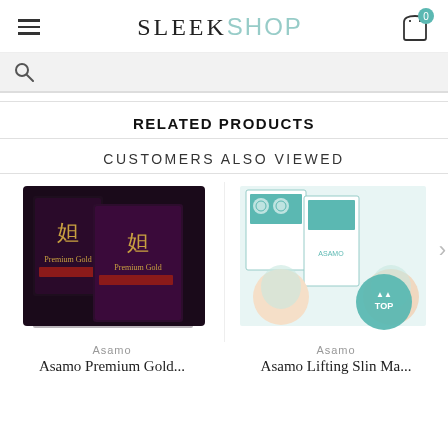SLEEKSHOP
RELATED PRODUCTS
CUSTOMERS ALSO VIEWED
[Figure (photo): Asamo Premium Gold face mask product box and packet on dark background]
[Figure (photo): Asamo skincare product set with models wearing face masks on teal/white packaging]
Asamo
Asamo
Asamo Premium Gold...
Asamo Lifting Slin Ma...